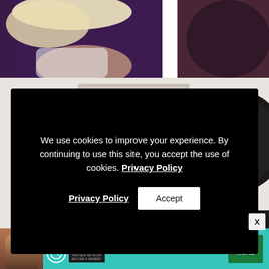[Figure (photo): Partial view of a person with blonde hair lying down against a dark purple background, split into two panels]
[Figure (photo): Cosmetic products including a round black compact with decorative engraving and makeup applicator tubes]
We use cookies to improve your experience. By continuing to use this site, you accept the use of cookies. Privacy Policy
[Figure (screenshot): Cookie consent overlay banner with black background containing cookie notice text with Privacy Policy link and Accept button]
[Figure (infographic): Advertisement banner for SHE PARTNER NETWORK with teal background, woman photo, bullet point 'Earning site & social revenue', SHE logo, and LEARN MORE green button]